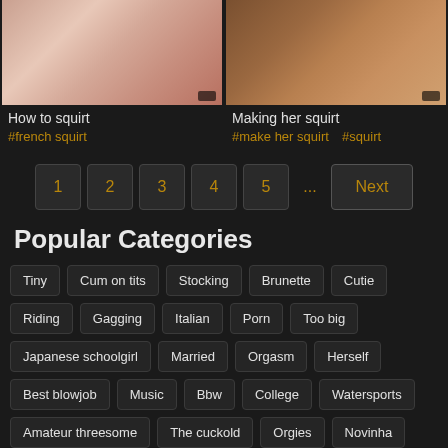[Figure (photo): Two video thumbnails side by side - left shows close-up skin with red nails, right shows close-up skin tones in brown/amber]
How to squirt
#french squirt
Making her squirt
#make her squirt   #squirt
1  2  3  4  5  ...  Next
Popular Categories
Tiny
Cum on tits
Stocking
Brunette
Cutie
Riding
Gagging
Italian
Porn
Too big
Japanese schoolgirl
Married
Orgasm
Herself
Best blowjob
Music
Bbw
College
Watersports
Amateur threesome
The cuckold
Orgies
Novinha
Mature mom
Bhabhi
Teen pussy
Sensual